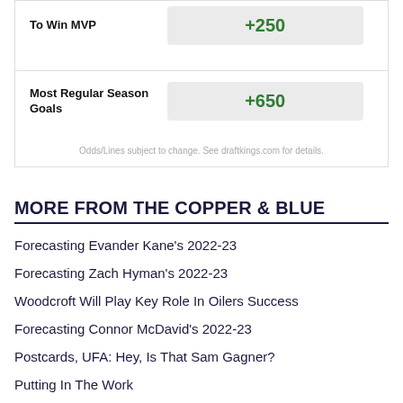| Bet | Odds |
| --- | --- |
| To Win MVP | +250 |
| Most Regular Season Goals | +650 |
Odds/Lines subject to change. See draftkings.com for details.
MORE FROM THE COPPER & BLUE
Forecasting Evander Kane's 2022-23
Forecasting Zach Hyman's 2022-23
Woodcroft Will Play Key Role In Oilers Success
Forecasting Connor McDavid's 2022-23
Postcards, UFA: Hey, Is That Sam Gagner?
Putting In The Work